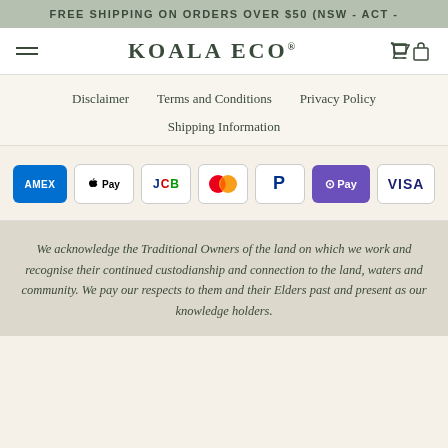FREE SHIPPING ON ORDERS OVER $50 (NSW - ACT -
[Figure (logo): Koala Eco logo with hamburger menu and cart icon]
Disclaimer   Terms and Conditions   Privacy Policy
Shipping Information
[Figure (other): Payment method icons: American Express, Apple Pay, JCB, Mastercard, PayPal, G Pay, Visa]
We acknowledge the Traditional Owners of the land on which we work and recognise their continued custodianship and connection to the land, waters and community. We pay our respects to them and their Elders past and present as our knowledge holders.